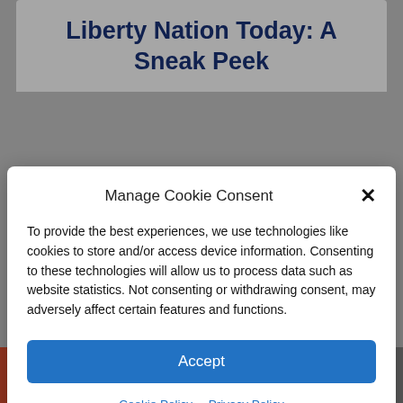Liberty Nation Today: A Sneak Peek
match the truth...
Manage Cookie Consent
To provide the best experiences, we use technologies like cookies to store and/or access device information. Consenting to these technologies will allow us to process data such as website statistics. Not consenting or withdrawing consent, may adversely affect certain features and functions.
Accept
Cookie Policy  Privacy Policy